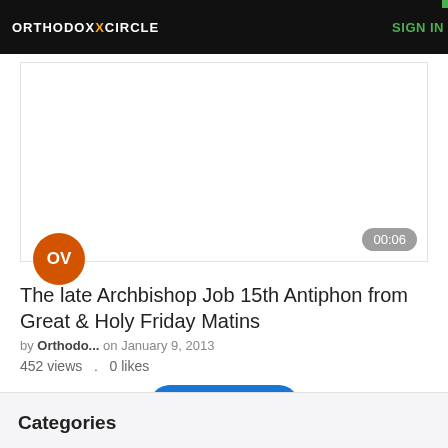ORTHODOXCIRCLE  SIGN IN
[Figure (screenshot): Video thumbnail placeholder with OV avatar circle (orange) and 00:06 duration badge (gray rounded rectangle)]
The late Archbishop Job 15th Antiphon from Great & Holy Friday Matins
by Orthodo... on January 9, 2013
452 views  .  0 likes
Load More
Categories